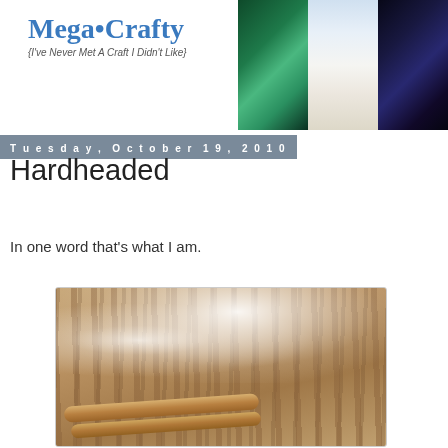Mega•Crafty (I've Never Met A Craft I Didn't Like)
[Figure (photo): Blog header collage with three craft-related photos: a blue-green glass sphere, a white carousel/gazebo cake, and colorful jeweled snowflake on dark background]
Tuesday, October 19, 2010
Hardheaded
In one word that's what I am.
[Figure (photo): Close-up photo of white yarn/thread tangled on a wooden loom or frame, with beige wicker basket in background]